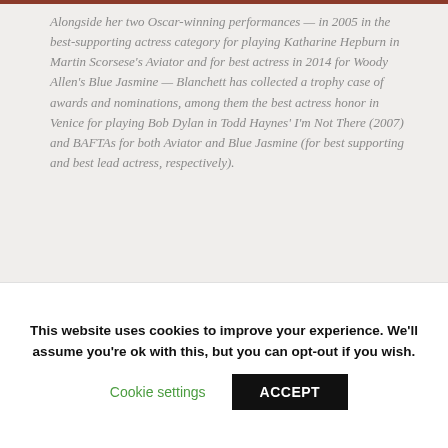Alongside her two Oscar-winning performances — in 2005 in the best-supporting actress category for playing Katharine Hepburn in Martin Scorsese's Aviator and for best actress in 2014 for Woody Allen's Blue Jasmine — Blanchett has collected a trophy case of awards and nominations, among them the best actress honor in Venice for playing Bob Dylan in Todd Haynes' I'm Not There (2007) and BAFTAs for both Aviator and Blue Jasmine (for best supporting and best lead actress, respectively).
This website uses cookies to improve your experience. We'll assume you're ok with this, but you can opt-out if you wish.
Cookie settings
ACCEPT